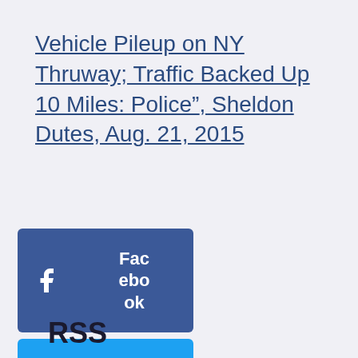Vehicle Pileup on NY Thruway; Traffic Backed Up 10 Miles: Police”, Sheldon Dutes, Aug. 21, 2015
[Figure (other): Social share buttons: Facebook, Twitter, LinkedIn]
RSS